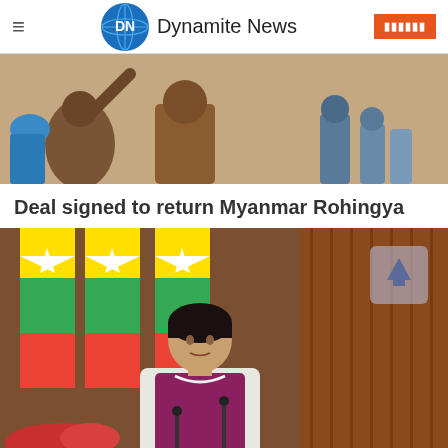Dynamite News
[Figure (photo): Photo of Rohingya refugees, a shirtless child visible in foreground among a group of people]
Deal signed to return Myanmar Rohingya
[Figure (photo): Photo of Aung San Suu Kyi speaking at a podium with Myanmar flags in the background]